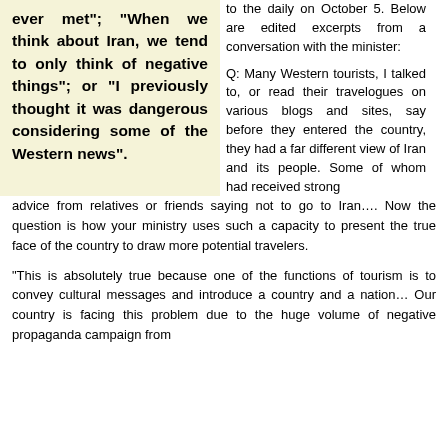ever met"; "When we think about Iran, we tend to only think of negative things"; or "I previously thought it was dangerous considering some of the Western news".
to the daily on October 5. Below are edited excerpts from a conversation with the minister:

Q: Many Western tourists, I talked to, or read their travelogues on various blogs and sites, say before they entered the country, they had a far different view of Iran and its people. Some of whom had received strong advice from relatives or friends saying not to go to Iran.... Now the question is how your ministry uses such a capacity to present the true face of the country to draw more potential travelers.
"This is absolutely true because one of the functions of tourism is to convey cultural messages and introduce a country and a nation… Our country is facing this problem due to the huge volume of negative propaganda campaign from